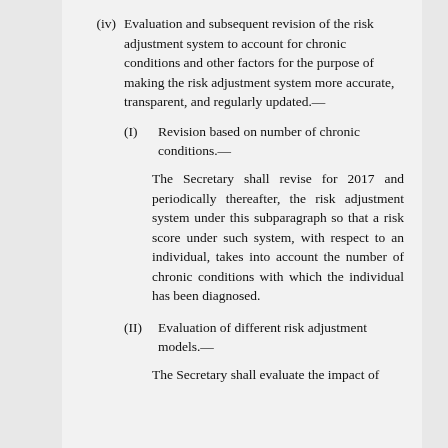(iv) Evaluation and subsequent revision of the risk adjustment system to account for chronic conditions and other factors for the purpose of making the risk adjustment system more accurate, transparent, and regularly updated.—
(I) Revision based on number of chronic conditions.—
The Secretary shall revise for 2017 and periodically thereafter, the risk adjustment system under this subparagraph so that a risk score under such system, with respect to an individual, takes into account the number of chronic conditions with which the individual has been diagnosed.
(II) Evaluation of different risk adjustment models.—
The Secretary shall evaluate the impact of